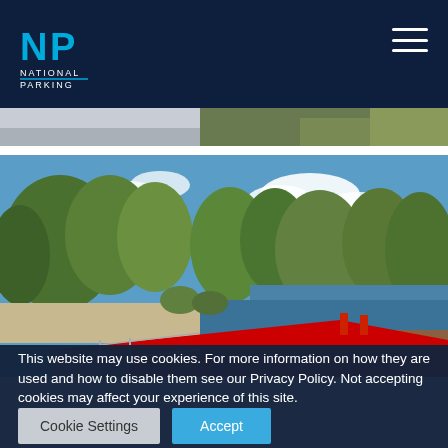National Parking logo and navigation
[Figure (photo): Top partial strip of a landscape image showing trees and sky]
[Figure (photo): Outdoor lakeside scene with a red floating pontoon/dock in the foreground, green trees, blue sky with clouds, and calm water]
This website may use cookies. For more information on how they are used and how to disable them see our Privacy Policy. Not accepting cookies may affect your experience of this site.
Cookie Settings   Accept